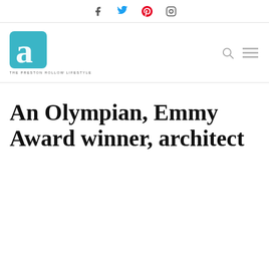Facebook Twitter Pinterest Instagram
[Figure (logo): Advocate magazine logo — teal square with stylized 'a' letterform, tagline THE PRESTON HOLLOW LIFESTYLE]
An Olympian, Emmy Award winner, architect